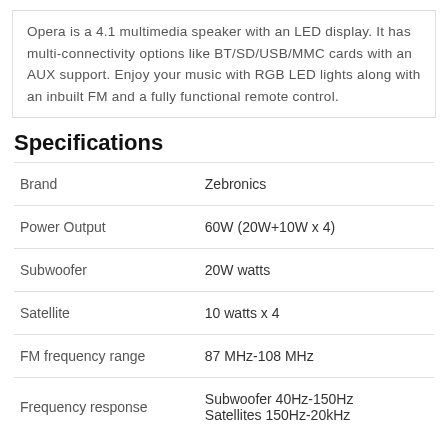Opera is a 4.1 multimedia speaker with an LED display. It has multi-connectivity options like BT/SD/USB/MMC cards with an AUX support. Enjoy your music with RGB LED lights along with an inbuilt FM and a fully functional remote control.
Specifications
|  |  |
| --- | --- |
| Brand | Zebronics |
| Power Output | 60W (20W+10W x 4) |
| Subwoofer | 20W watts |
| Satellite | 10 watts x 4 |
| FM frequency range | 87 MHz-108 MHz |
| Frequency response | Subwoofer 40Hz-150Hz
Satellites 150Hz-20kHz |